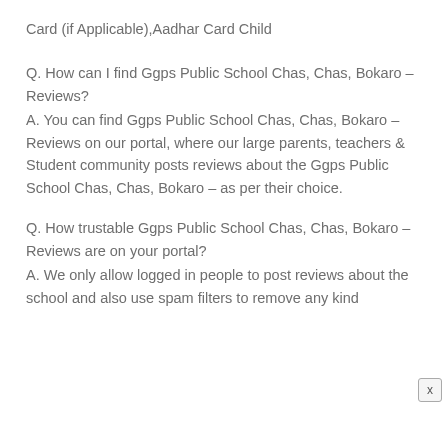Card (if Applicable),Aadhar Card Child
Q. How can I find Ggps Public School Chas, Chas, Bokaro – Reviews?
A. You can find Ggps Public School Chas, Chas, Bokaro – Reviews on our portal, where our large parents, teachers & Student community posts reviews about the Ggps Public School Chas, Chas, Bokaro – as per their choice.
Q. How trustable Ggps Public School Chas, Chas, Bokaro – Reviews are on your portal?
A. We only allow logged in people to post reviews about the school and also use spam filters to remove any kind